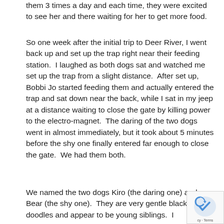them 3 times a day and each time, they were excited to see her and there waiting for her to get more food.
So one week after the initial trip to Deer River, I went back up and set up the trap right near their feeding station.  I laughed as both dogs sat and watched me set up the trap from a slight distance.  After set up, Bobbi Jo started feeding them and actually entered the trap and sat down near the back, while I sat in my jeep at a distance waiting to close the gate by killing power to the electro-magnet.  The daring of the two dogs went in almost immediately, but it took about 5 minutes before the shy one finally entered far enough to close the gate.  We had them both.
We named the two dogs Kiro (the daring one) and Bear (the shy one).  They are very gentle black golden doodles and appear to be young siblings.  I